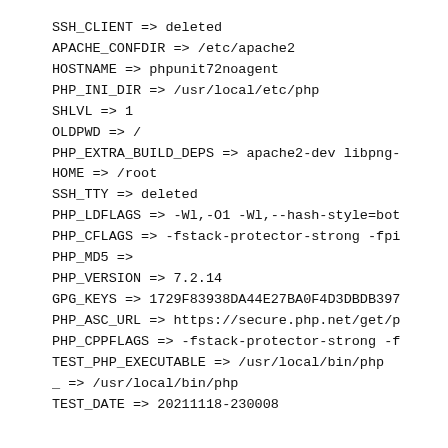SSH_CLIENT => deleted
APACHE_CONFDIR => /etc/apache2
HOSTNAME => phpunit72noagent
PHP_INI_DIR => /usr/local/etc/php
SHLVL => 1
OLDPWD => /
PHP_EXTRA_BUILD_DEPS => apache2-dev libpng-
HOME => /root
SSH_TTY => deleted
PHP_LDFLAGS => -Wl,-O1 -Wl,--hash-style=bot
PHP_CFLAGS => -fstack-protector-strong -fpi
PHP_MD5 =>
PHP_VERSION => 7.2.14
GPG_KEYS => 1729F83938DA44E27BA0F4D3DBDB397
PHP_ASC_URL => https://secure.php.net/get/p
PHP_CPPFLAGS => -fstack-protector-strong -f
TEST_PHP_EXECUTABLE => /usr/local/bin/php
_ => /usr/local/bin/php
TEST_DATE => 20211118-230008